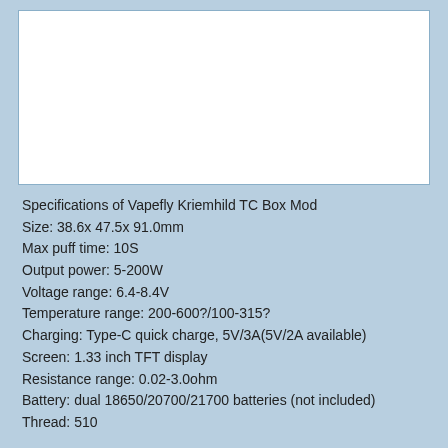[Figure (photo): White rectangular image placeholder area for a product photo]
Specifications of Vapefly Kriemhild TC Box Mod
Size: 38.6x 47.5x 91.0mm
Max puff time: 10S
Output power: 5-200W
Voltage range: 6.4-8.4V
Temperature range: 200-600?/100-315?
Charging: Type-C quick charge, 5V/3A(5V/2A available)
Screen: 1.33 inch TFT display
Resistance range: 0.02-3.0ohm
Battery: dual 18650/20700/21700 batteries (not included)
Thread: 510
Latest Worth-buying Vape Device - 5. Joyetech eGrip Mini Starter Kit - 420mAh
The Joyetech eGrip Mini Starter Kit is smaller and more portable than other Joyetech eGrip series. The Joyetech eGrip Mini Starter Kit has s smooth texture with 420mAh built-in battery. The non-